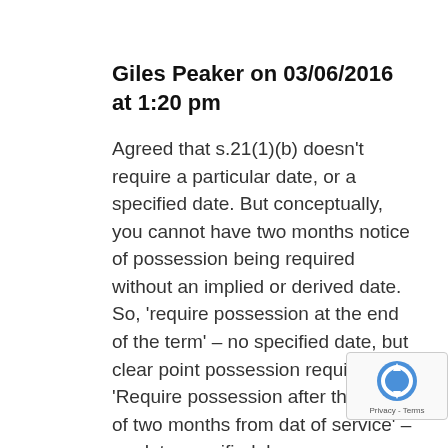Giles Peaker on 03/06/2016 at 1:20 pm
Agreed that s.21(1)(b) doesn't require a particular date, or a specified date. But conceptually, you cannot have two months notice of possession being required without an implied or derived date. So, 'require possession at the end of the term' – no specified date, but clear point possession required. 'Require possession after the expiry of two months from dat of service' – no date specified, b…